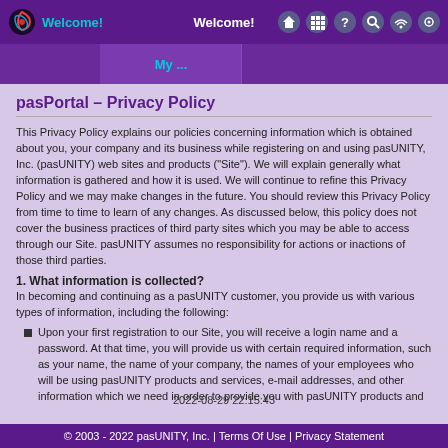Welcome! | Welcome!
pasPortal – Privacy Policy
This Privacy Policy explains our policies concerning information which is obtained about you, your company and its business while registering on and using pasUNITY, Inc. (pasUNITY) web sites and products ("Site"). We will explain generally what information is gathered and how it is used. We will continue to refine this Privacy Policy and we may make changes in the future. You should review this Privacy Policy from time to time to learn of any changes. As discussed below, this policy does not cover the business practices of third party sites which you may be able to access through our Site. pasUNITY assumes no responsibility for actions or inactions of those third parties.
1. What information is collected?
In becoming and continuing as a pasUNITY customer, you provide us with various types of information, including the following:
Upon your first registration to our Site, you will receive a login name and a password. At that time, you will provide us with certain required information, such as your name, the name of your company, the names of your employees who will be using pasUNITY products and services, e-mail addresses, and other information which we need in order to provide you with pasUNITY products and services. You may also provide certain optional
2022-08-29 22:15:43
© 2003 - 2022 pasUNITY, Inc. | Terms Of Use | Privacy Statement